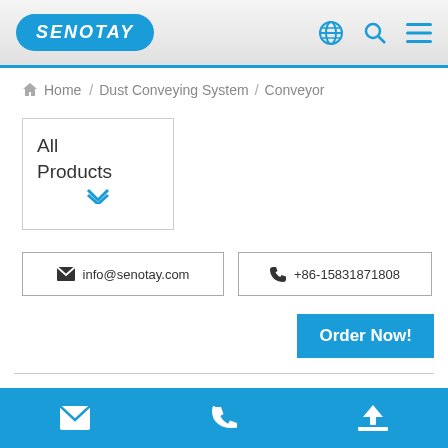SENOTAY — navigation header with logo, globe icon, search icon, menu icon
Home / Dust Conveying System / Conveyor
All Products
info@senotay.com
+86-15831871808
Order Now!
Conveyor
Conveyors include scraper conveyors and FU chain conveyors
According to the arrangement and structure of the chute conveyor chute, it can be divided into two kinds: parallel chain type and
Footer bar with email icon, phone icon, and upload icon